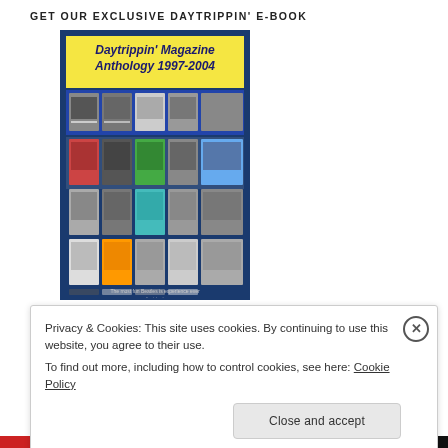GET OUR EXCLUSIVE DAYTRIPPIN' E-BOOK
[Figure (illustration): Book cover for Daytrippin' Magazine Anthology 1997-2004, showing a grid of magazine covers with a yellow header and navy border, featuring black and white photos of what appear to be Beatles-related content]
Over 75 pages of exclusive articles and interviews!
Privacy & Cookies: This site uses cookies. By continuing to use this website, you agree to their use.
To find out more, including how to control cookies, see here: Cookie Policy
Close and accept